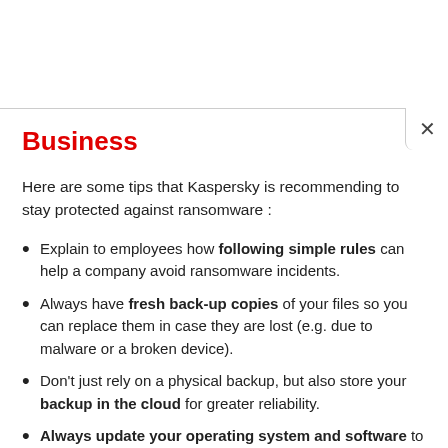Business
Here are some tips that Kaspersky is recommending to stay protected against ransomware :
Explain to employees how following simple rules can help a company avoid ransomware incidents.
Always have fresh back-up copies of your files so you can replace them in case they are lost (e.g. due to malware or a broken device).
Don't just rely on a physical backup, but also store your backup in the cloud for greater reliability.
Always update your operating system and software to eliminate recent vulnerabilities.